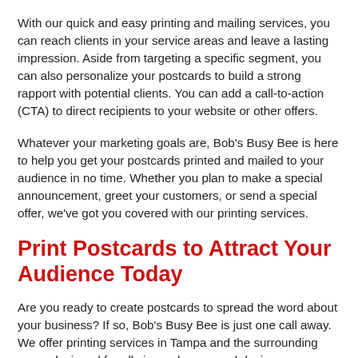With our quick and easy printing and mailing services, you can reach clients in your service areas and leave a lasting impression. Aside from targeting a specific segment, you can also personalize your postcards to build a strong rapport with potential clients. You can add a call-to-action (CTA) to direct recipients to your website or other offers.
Whatever your marketing goals are, Bob's Busy Bee is here to help you get your postcards printed and mailed to your audience in no time. Whether you plan to make a special announcement, greet your customers, or send a special offer, we've got you covered with our printing services.
Print Postcards to Attract Your Audience Today
Are you ready to create postcards to spread the word about your business? If so, Bob's Busy Bee is just one call away. We offer printing services in Tampa and the surrounding areas designed for all sizes, shapes, and designs, you can trust us to deliver quality work… regardless of the complexity or volume